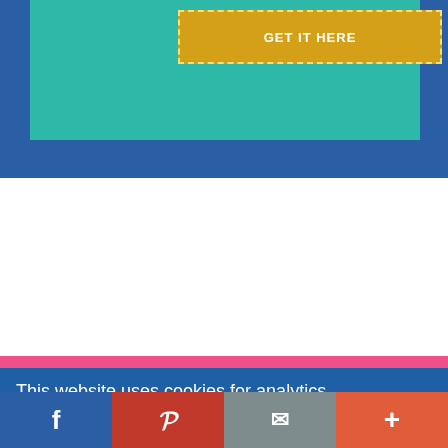[Figure (screenshot): Top section with blue background, teal inner panel, and yellow dashed-border button partially visible at top]
[Figure (illustration): Pink background section with a circular cookie/pretzel illustration in golden-brown color with white swirl design]
This website uses cookies for analytics, personalization and advertising. To learn more or change your cookie settings, please read our cookie policy. By continuing to browse, you agree to our use of cookies.
[Figure (screenshot): GOT IT! button with dashed border on blue background]
[Figure (screenshot): Bottom social sharing bar with Facebook (blue), Pinterest (red), Email (gray), and More/Plus (orange-red) buttons]